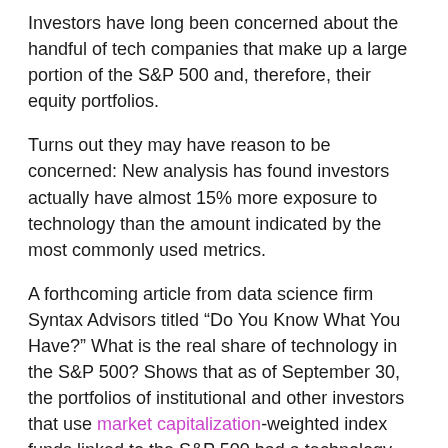Investors have long been concerned about the handful of tech companies that make up a large portion of the S&P 500 and, therefore, their equity portfolios.
Turns out they may have reason to be concerned: New analysis has found investors actually have almost 15% more exposure to technology than the amount indicated by the most commonly used metrics.
A forthcoming article from data science firm Syntax Advisors titled “Do You Know What You Have?” What is the real share of technology in the S&P 500? Shows that as of September 30, the portfolios of institutional and other investors that use market capitalization-weighted index funds linked to the S&P 500 had a technology exposure rate of 42%. In contrast, most traditional metrics – which typically group companies into broad sectors such as information technology, industrials, and finance – place technology exposure in the S&P 500 at 27.6%.
As pension funds and other large institutions have adopted index funds for at least part of their equity portfolios, many of them now